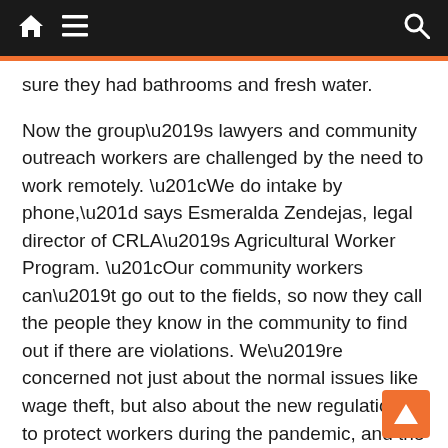Navigation bar with home, menu, and search icons
sure they had bathrooms and fresh water.
Now the group’s lawyers and community outreach workers are challenged by the need to work remotely. “We do intake by phone,” says Esmeralda Zendejas, legal director of CRLA’s Agricultural Worker Program. “Our community workers can’t go out to the fields, so now they call the people they know in the community to find out if there are violations. We’re concerned not just about the normal issues like wage theft, but also about the new regulations to protect workers during the pandemic, and the benefits they should know about.”
A recent outreach flyer tells workers that even though they are called “essential workers,” they still